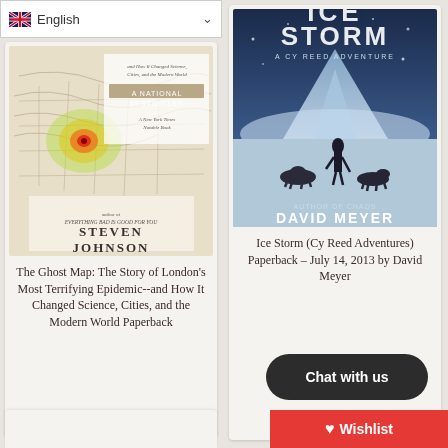[Figure (screenshot): Language selector bar showing UK flag and 'English' with dropdown chevron]
[Figure (photo): Book cover of 'The Ghost Map' by Steven Johnson - shows a historical map with heat map overlay and the author's name]
The Ghost Map: The Story of London's Most Terrifying Epidemic--and How It Changed Science, Cities, and the Modern World Paperback
from $10.22
[Figure (photo): Book cover of 'Ice Storm: A Cy Reed Adventure' by David Meyer - shows a person and wolves in a snowy mountain setting]
Ice Storm (Cy Reed Adventures) Paperback - July 14, 2013 by David Meyer
fr...
[Figure (screenshot): Chat with us button - dark rounded pill button]
[Figure (screenshot): Wishlist button - red bar with heart icon]